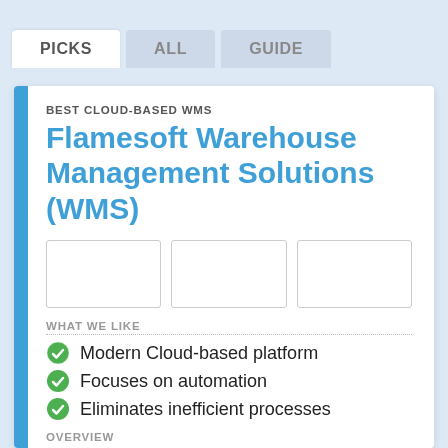PICKS | ALL | GUIDE
BEST CLOUD-BASED WMS
Flamesoft Warehouse Management Solutions (WMS)
[Figure (other): Three blank image placeholder boxes side by side]
WHAT WE LIKE
Modern Cloud-based platform
Focuses on automation
Eliminates inefficient processes
OVERVIEW